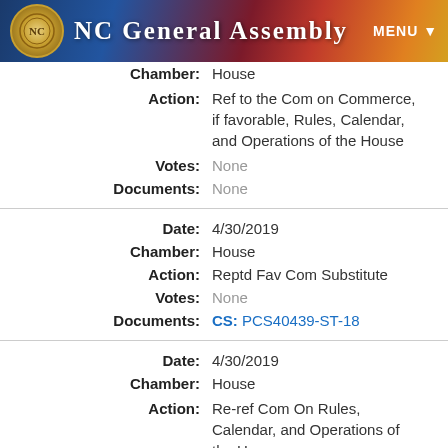NC General Assembly MENU
| Field | Value |
| --- | --- |
| Chamber: | House |
| Action: | Ref to the Com on Commerce, if favorable, Rules, Calendar, and Operations of the House |
| Votes: | None |
| Documents: | None |
| Date: | 4/30/2019 |
| Chamber: | House |
| Action: | Reptd Fav Com Substitute |
| Votes: | None |
| Documents: | CS: PCS40439-ST-18 |
| Date: | 4/30/2019 |
| Chamber: | House |
| Action: | Re-ref Com On Rules, Calendar, and Operations of the House |
| Votes: | None |